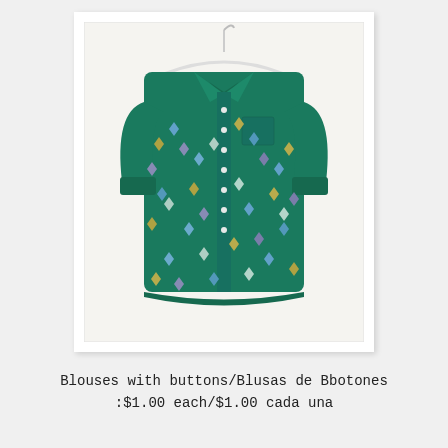[Figure (photo): A teal/dark green button-up blouse with a small diamond/geometric pattern in blue, purple, and yellow, hanging on a white plastic hanger against a white wall background. The shirt has a collar, a chest pocket, and rolled-up three-quarter sleeves.]
Blouses with buttons/Blusas de Bbotones :$1.00 each/$1.00 cada una